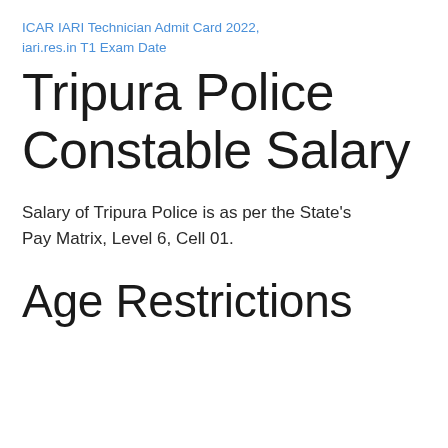ICAR IARI Technician Admit Card 2022, iari.res.in T1 Exam Date
Tripura Police Constable Salary
Salary of Tripura Police is as per the State's Pay Matrix, Level 6, Cell 01.
Age Restrictions